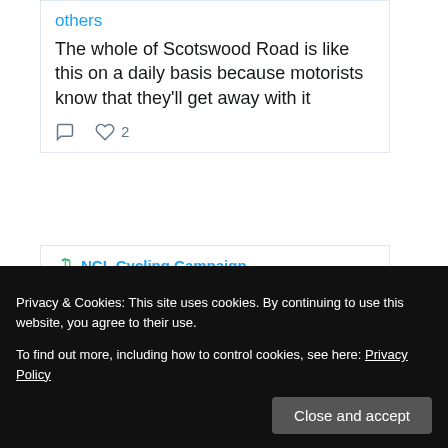others
The whole of Scotswood Road is like this on a daily basis because motorists know that they'll get away with it
♡ 2
NCL Cycling Campaign ...
Damien ... @... · Aug 28
Every time there's a
Privacy & Cookies: This site uses cookies. By continuing to use this website, you agree to their use.
To find out more, including how to control cookies, see here: Privacy Policy
Close and accept
@VertaMotors
@Nco_Cycli...